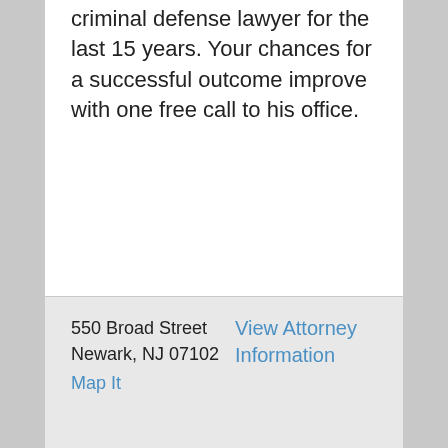criminal defense lawyer for the last 15 years. Your chances for a successful outcome improve with one free call to his office.
550 Broad Street
Newark, NJ 07102
Map It
View Attorney Information